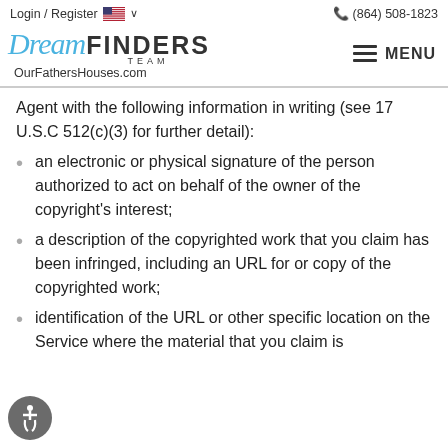Login / Register  (864) 508-1823
[Figure (logo): Dream Finders Team logo with OurFathersHouses.com URL and MENU button]
Agent with the following information in writing (see 17 U.S.C 512(c)(3) for further detail):
an electronic or physical signature of the person authorized to act on behalf of the owner of the copyright's interest;
a description of the copyrighted work that you claim has been infringed, including an URL for or copy of the copyrighted work;
identification of the URL or other specific location on the Service where the material that you claim is